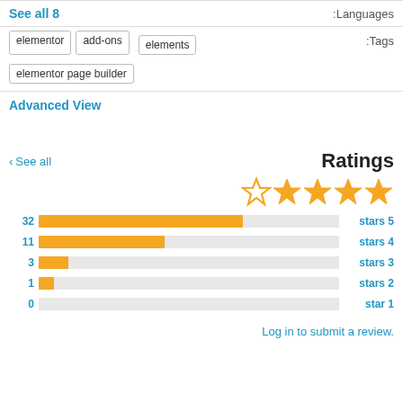See all 8 :Languages
:Tags elementor  add-ons  elements  elementor page builder
Advanced View
Ratings
[Figure (bar-chart): Ratings breakdown]
Log in to submit a review.